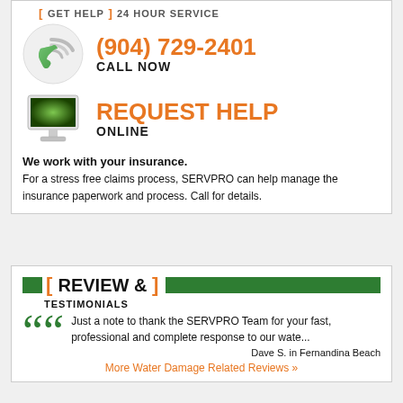24 HOUR SERVICE
(904) 729-2401
CALL NOW
[Figure (illustration): Green phone handset with WiFi signal waves icon inside circular background]
REQUEST HELP
ONLINE
[Figure (illustration): Computer monitor with green screen icon]
We work with your insurance.
For a stress free claims process, SERVPRO can help manage the insurance paperwork and process. Call for details.
REVIEW & TESTIMONIALS
Just a note to thank the SERVPRO Team for your fast, professional and complete response to our wate...
Dave S. in Fernandina Beach
More Water Damage Related Reviews »